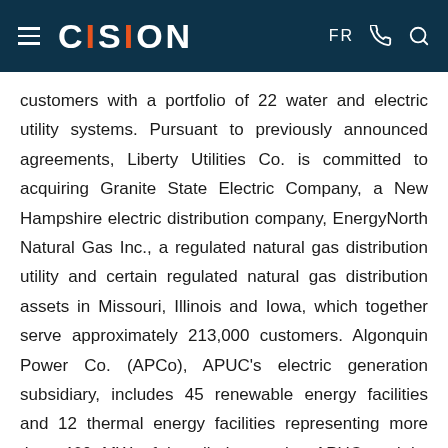CISION
customers with a portfolio of 22 water and electric utility systems. Pursuant to previously announced agreements, Liberty Utilities Co. is committed to acquiring Granite State Electric Company, a New Hampshire electric distribution company, EnergyNorth Natural Gas Inc., a regulated natural gas distribution utility and certain regulated natural gas distribution assets in Missouri, Illinois and Iowa, which together serve approximately 213,000 customers. Algonquin Power Co. (APCo), APUC's electric generation subsidiary, includes 45 renewable energy facilities and 12 thermal energy facilities representing more than 460 MW of installed capacity. APUC and its operating subsidiaries also operate in the...